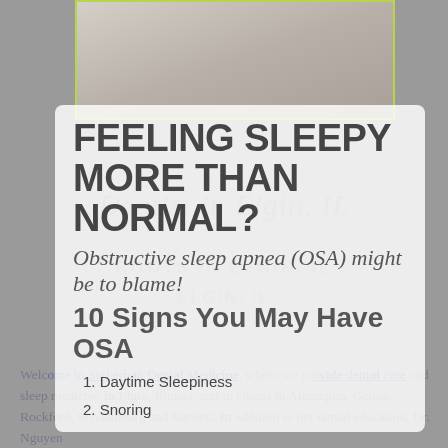[Figure (photo): Photo of a dental professional in white coat holding a green object, partially visible at top of page]
FEELING SLEEPY MORE THAN NORMAL?
Obstructive sleep apnea (OSA) might be to blame!
10 Signs You May Have OSA
1. Daytime Sleepiness
2. Snoring
Welcome to Sutherland Dental Medicine, where we provide dental care and sleep medicine in Elgin, Illinois, and to clients in Algonquin, Genoa, Rockford, Schaumburg and Bartlett. In addition to her dental education, Dr. Nguyen has extra training in treating medically
Dentist in Elgin, IL
ROOTS IN ELGIN, IL